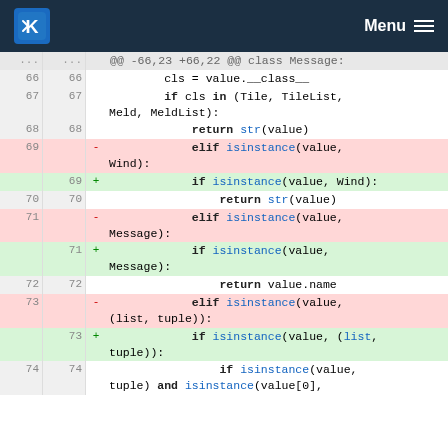KDE Menu
[Figure (screenshot): Git diff view showing Python code changes in a class Message function, lines 66-74, with deleted lines (red) and added lines (green) for isinstance checks.]